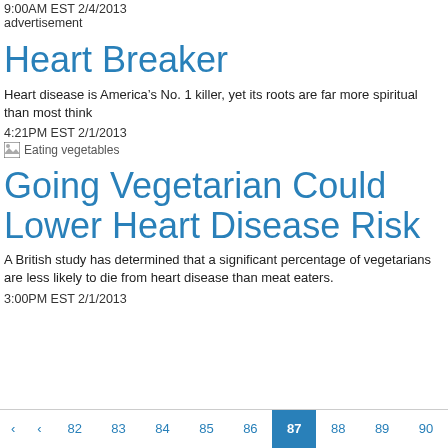9:00AM EST 2/4/2013
advertisement
Heart Breaker
Heart disease is America’s No. 1 killer, yet its roots are far more spiritual than most think
4:21PM EST 2/1/2013
[Figure (photo): Eating vegetables image placeholder]
Going Vegetarian Could Lower Heart Disease Risk
A British study has determined that a significant percentage of vegetarians are less likely to die from heart disease than meat eaters.
3:00PM EST 2/1/2013
82 83 84 85 86 87 88 89 90